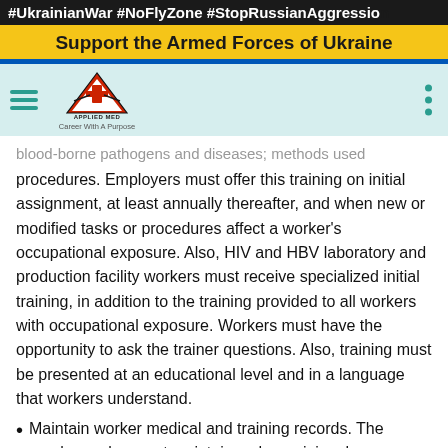#UkrainianWar #NoFlyZone #StopRussianAggression
Support the Armed Forces of Ukraine
[Figure (logo): Applied Medical Academy logo with tagline 'Career With A Purpose']
blood-borne pathogens and diseases; methods used procedures. Employers must offer this training on initial assignment, at least annually thereafter, and when new or modified tasks or procedures affect a worker's occupational exposure. Also, HIV and HBV laboratory and production facility workers must receive specialized initial training, in addition to the training provided to all workers with occupational exposure. Workers must have the opportunity to ask the trainer questions. Also, training must be presented at an educational level and in a language that workers understand.
Maintain worker medical and training records. The employer also must maintain a sharps injury log.